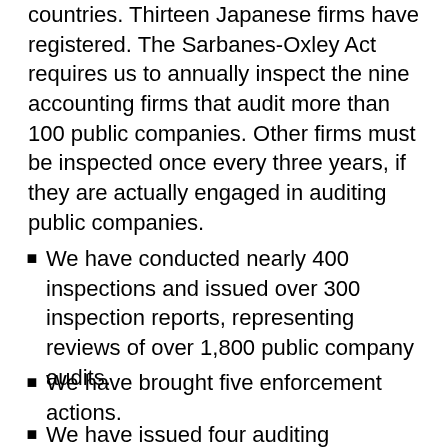countries. Thirteen Japanese firms have registered. The Sarbanes-Oxley Act requires us to annually inspect the nine accounting firms that audit more than 100 public companies. Other firms must be inspected once every three years, if they are actually engaged in auditing public companies.
We have conducted nearly 400 inspections and issued over 300 inspection reports, representing reviews of over 1,800 public company audits.
We have brought five enforcement actions.
We have issued four auditing standards, plus rules on auditor independence and other matters.